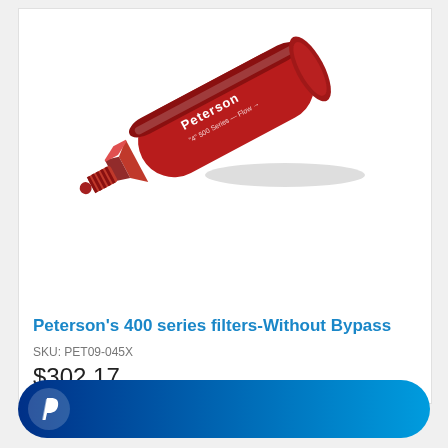[Figure (photo): Red anodized aluminum Peterson 400 series fuel filter without bypass, cylindrical shape with hex fittings, oriented diagonally]
Peterson's 400 series filters-Without Bypass
SKU: PET09-045X
$302.17
[Figure (logo): PayPal checkout button - blue gradient rounded rectangle with PayPal 'P' logo icon on left side]